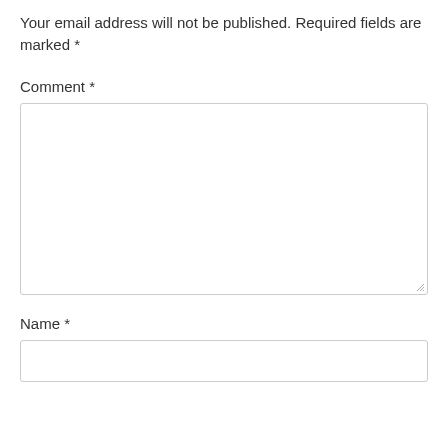Your email address will not be published. Required fields are marked *
Comment *
[Figure (other): A large textarea input box for comment entry with resize handle in bottom-right corner]
Name *
[Figure (other): A single-line text input box for name entry]